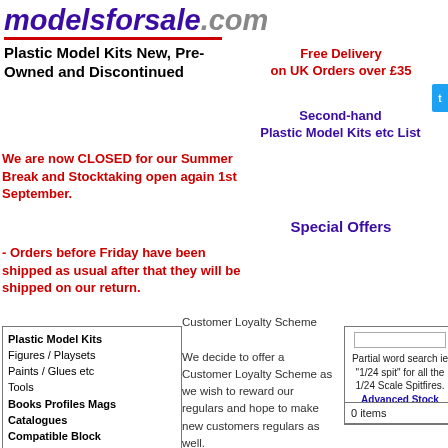modelsforsale.com
Plastic Model Kits New, Pre-Owned and Discontinued
Free Delivery on UK Orders over £35
Second-hand Plastic Model Kits etc List
We are now CLOSED for our Summer Break and Stocktaking open again 1st September.
- Orders before Friday have been shipped as usual after that they will be shipped on our return.
Special Offers
Plastic Model Kits
Figures / Playsets
Paints / Glues etc
Tools
Books Profiles Mags
Catalogues
Compatible Block
Decals
Detail Sets / Photoetch
Diorama Accessories
Free Gifts
Games / Toys
Metal Kits
Resin Kits
Customer Loyalty Scheme

We decide to offer a Customer Loyalty Scheme as we wish to reward our regulars and hope to make new customers regulars as well.
Partial word search ie "1/24 spit" for all the 1/24 Scale Spitfires. Advanced Stock Search
0 items